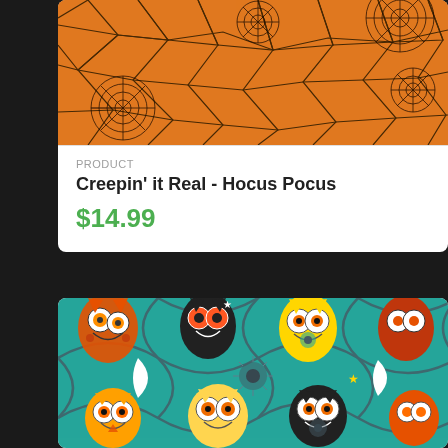[Figure (photo): Orange Halloween spiderweb fabric pattern with black spider webs on orange background]
PRODUCT
Creepin' it Real - Hocus Pocus
$14.99
[Figure (photo): Colorful Halloween owl fabric pattern on teal background with owls in orange, yellow, black and white, decorated with moons, stars and flowers]